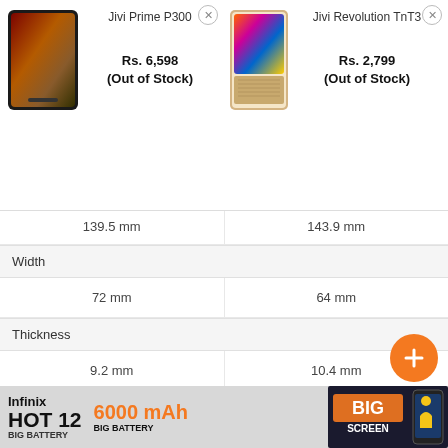[Figure (screenshot): Product comparison page showing Jivi Prime P300 and Jivi Revolution TnT3 phones with prices and specs]
Jivi Prime P300
Rs. 6,598
(Out of Stock)
Jivi Revolution TnT3
Rs. 2,799
(Out of Stock)
| Jivi Prime P300 | Jivi Revolution TnT3 |
| --- | --- |
| 159.5 mm | 143.9 mm |
| Width |  |
| 72 mm | 64 mm |
| Thickness |  |
| 9.2 mm | 10.4 mm |
| Weight |  |
| 135 grams | 125.5 grams |
| Colours |  |
| Gold
Grey | Gold
Red
Silver |
[Figure (screenshot): Infinix HOT 12 advertisement banner with 6000 mAh Big Battery text]